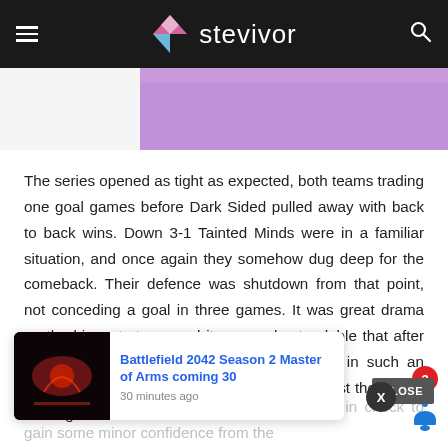stevivor
[Figure (photo): Partial product image with purple and orange colors visible at top of article]
The series opened as tight as expected, both teams trading one goal games before Dark Sided pulled away with back to back wins. Down 3-1 Tainted Minds were in a familiar situation, and once again they somehow dug deep for the comeback. Their defence was shutdown from that point, not conceding a goal in three games. It was great drama on the biggest stage, and it was understandable that after the adrenaline dump of earning qualification in such an unlikely fashion that they would struggle against the Chiefs in the grand
held to
re.
though they kept the Chiefs dominant attack in check to gain some minor confidence from the
[Figure (screenshot): Popup notification card showing Battlefield 2042 Season 2 Master of Arms coming 30, with game thumbnail and close button, plus notification bell with badge showing 3]